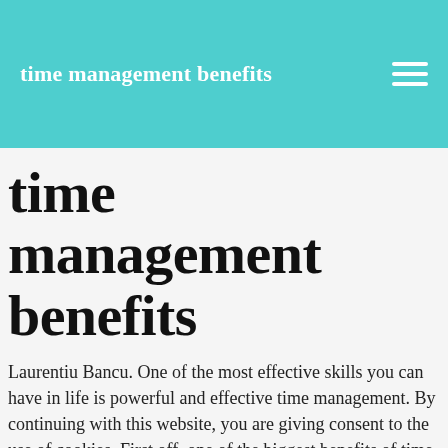time management benefits
time management benefits
Laurentiu Bancu. One of the most effective skills you can have in life is powerful and effective time management. By continuing with this website, you are giving consent to the use of cookies. First off, one of the biggest benefits of time management is that you accomplish more. When you manage your time well, you will spend less time having to redo projects and tasks, which then brings more stress and overwhelm. Also, think about when you are most alert, so